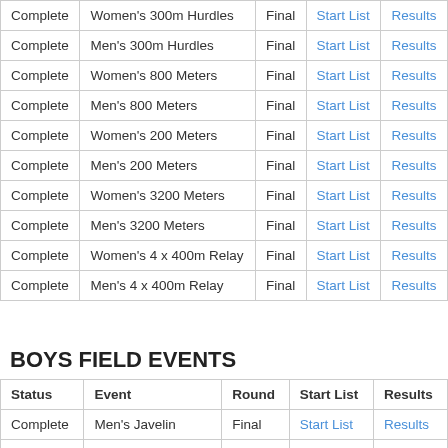| Status | Event | Round | Start List | Results |
| --- | --- | --- | --- | --- |
| Complete | Women's 300m Hurdles | Final | Start List | Results |
| Complete | Men's 300m Hurdles | Final | Start List | Results |
| Complete | Women's 800 Meters | Final | Start List | Results |
| Complete | Men's 800 Meters | Final | Start List | Results |
| Complete | Women's 200 Meters | Final | Start List | Results |
| Complete | Men's 200 Meters | Final | Start List | Results |
| Complete | Women's 3200 Meters | Final | Start List | Results |
| Complete | Men's 3200 Meters | Final | Start List | Results |
| Complete | Women's 4 x 400m Relay | Final | Start List | Results |
| Complete | Men's 4 x 400m Relay | Final | Start List | Results |
BOYS FIELD EVENTS
| Status | Event | Round | Start List | Results |
| --- | --- | --- | --- | --- |
| Complete | Men's Javelin | Final | Start List | Results |
| Complete | Men's Discus | Final | Start List | Results |
| Complete | Men's Shot Put | Final | Start List | Results |
| Complete | Men's Triple Jump | Final | Start List | Results |